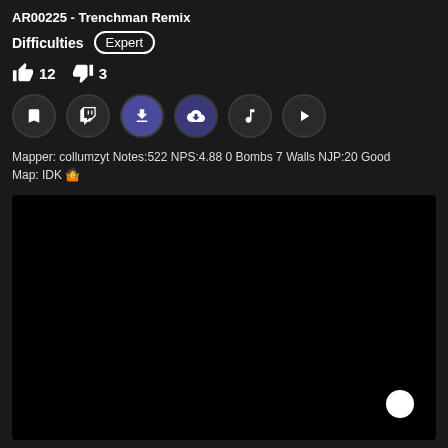AR00225 - Trenchman Remix
Difficulties  Expert
👍 12  👎 3
Mapper: collumzyt Notes:522 NPS:4.88 0 Bombs 7 Walls NJP:20 Good Map: IDK 🤷
[Figure (screenshot): Black video preview area with a white circular dot in the bottom right corner]